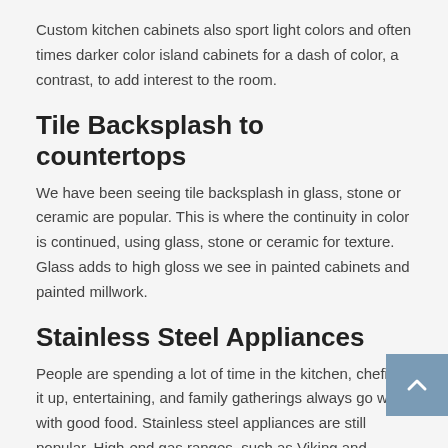Custom kitchen cabinets also sport light colors and often times darker color island cabinets for a dash of color, a contrast, to add interest to the room.
Tile Backsplash to countertops
We have been seeing tile backsplash in glass, stone or ceramic are popular. This is where the continuity in color is continued, using glass, stone or ceramic for texture. Glass adds to high gloss we see in painted cabinets and painted millwork.
Stainless Steel Appliances
People are spending a lot of time in the kitchen, chefing it up, entertaining, and family gatherings always go well with good food. Stainless steel appliances are still popular. High-end gas ranges, such as Viking and Thermidor with double wall ovens and separate gas cooktops. Custom stainless steel, brass or built-in vent